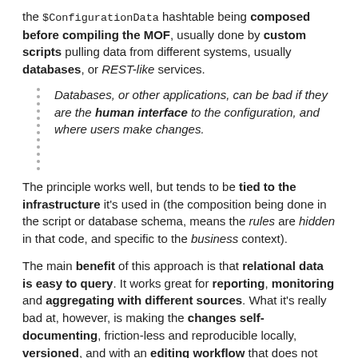the $ConfigurationData hashtable being composed before compiling the MOF, usually done by custom scripts pulling data from different systems, usually databases, or REST-like services.
Databases, or other applications, can be bad if they are the human interface to the configuration, and where users make changes.
The principle works well, but tends to be tied to the infrastructure it's used in (the composition being done in the script or database schema, means the rules are hidden in that code, and specific to the business context).
The main benefit of this approach is that relational data is easy to query. It works great for reporting, monitoring and aggregating with different sources. What it's really bad at, however, is making the changes self-documenting, friction-less and reproducible locally, versioned, and with an editing workflow that does not need a custom solution.